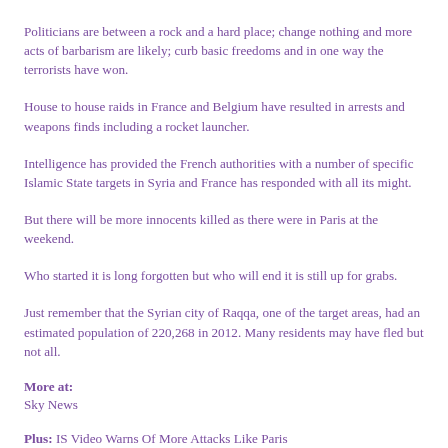Politicians are between a rock and a hard place; change nothing and more acts of barbarism are likely; curb basic freedoms and in one way the terrorists have won.
House to house raids in France and Belgium have resulted in arrests and weapons finds including a rocket launcher.
Intelligence has provided the French authorities with a number of specific Islamic State targets in Syria and France has responded with all its might.
But there will be more innocents killed as there were in Paris at the weekend.
Who started it is long forgotten but who will end it is still up for grabs.
Just remember that the Syrian city of Raqqa, one of the target areas, had an estimated population of 220,268 in 2012. Many residents may have fled but not all.
More at:
Sky News
Plus: IS Video Warns Of More Attacks Like Paris